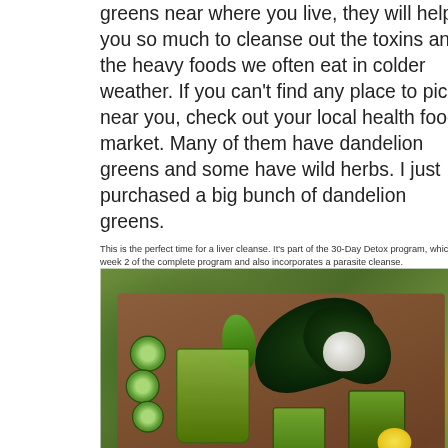greens near where you live, they will help you so much to cleanse out the toxins and the heavy foods we often eat in colder weather. If you can't find any place to pick near you, check out your local health food market. Many of them have dandelion greens and some have wild herbs. I just purchased a big bunch of dandelion greens.
This is the perfect time for a liver cleanse. It's part of the 30-Day Detox program, which is week 2 of the complete program and also incorporates a parasite cleanse.
Note: Excerpts from The Juice Lady's Living Foods Revolution
[Figure (photo): Overhead photo of green juices/smoothies in glasses on a wooden cutting board, surrounded by fresh vegetables including cucumber slices, kale leaves, celery, apple halves, lemon wedges, and ginger.]